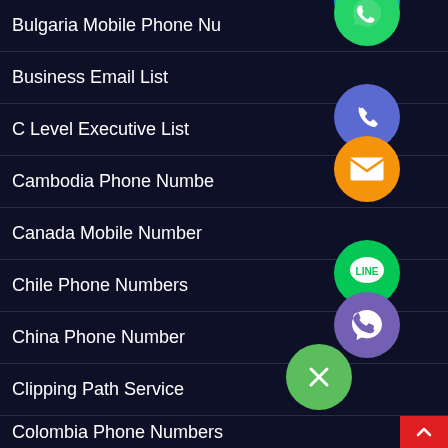Bulgaria Mobile Phone Numbers
Business Email List
C Level Executive List
Cambodia Phone Numbers
Canada Mobile Number
Chile Phone Numbers
China Phone Number
Clipping Path Service
Colombia Phone Numbers